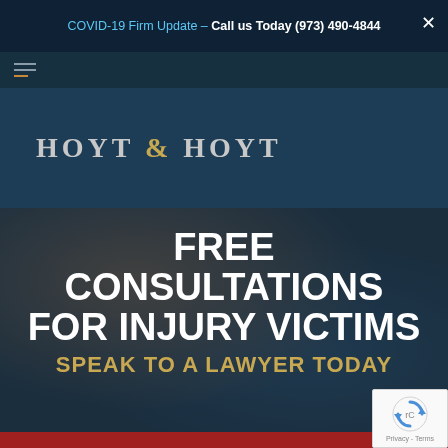COVID-19 Firm Update – Call us Today (973) 490-4844
[Figure (logo): Hamburger menu icon with three lines, bottom line in orange/gold color]
[Figure (logo): Hoyt & Hoyt law firm logo in serif uppercase letters, white/gray with gold ampersand]
FREE CONSULTATIONS FOR INJURY VICTIMS
SPEAK TO A LAWYER TODAY
We use cookies to ensure that we give you the best experience on our website. If you continue to use this site we assume that you accept this.
Ok
Privacy Policy
[Figure (logo): reCAPTCHA logo badge with circular arrow icon and Privacy - Terms text]